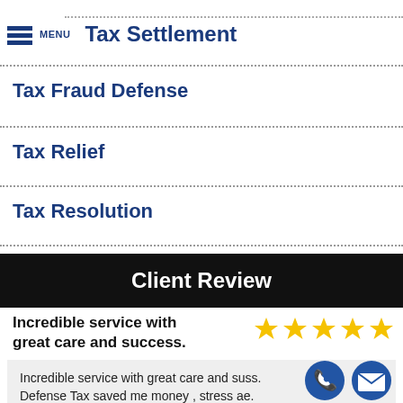Tax Settlement
Tax Fraud Defense
Tax Relief
Tax Resolution
Client Review
Incredible service with great care and success.
[Figure (other): Five gold stars rating]
Incredible service with great care and success. Defense Tax saved me money , stress and time. highly recommend them to anyone needing help wi...
[Figure (other): Phone and email contact icon buttons]